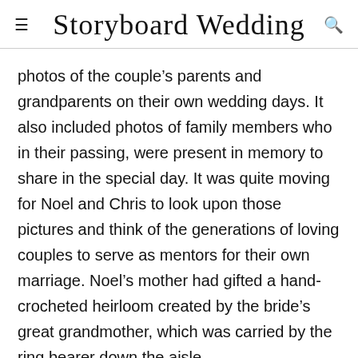Storyboard Wedding
photos of the couple’s parents and grandparents on their own wedding days. It also included photos of family members who in their passing, were present in memory to share in the special day. It was quite moving for Noel and Chris to look upon those pictures and think of the generations of loving couples to serve as mentors for their own marriage. Noel’s mother had gifted a hand-crocheted heirloom created by the bride’s great grandmother, which was carried by the ring bearer down the aisle.
Advice for Future Couples~